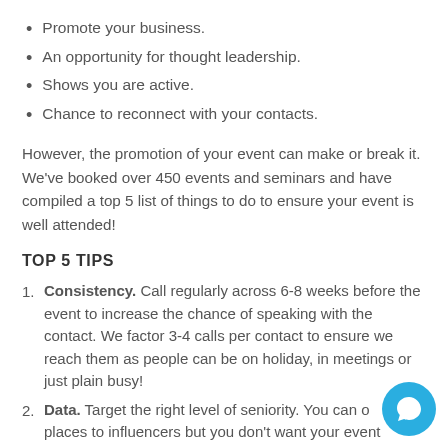Promote your business.
An opportunity for thought leadership.
Shows you are active.
Chance to reconnect with your contacts.
However, the promotion of your event can make or break it. We've booked over 450 events and seminars and have compiled a top 5 list of things to do to ensure your event is well attended!
TOP 5 TIPS
Consistency. Call regularly across 6-8 weeks before the event to increase the chance of speaking with the contact. We factor 3-4 calls per contact to ensure we reach them as people can be on holiday, in meetings or just plain busy!
Data. Target the right level of seniority. You can offer places to influencers but you don't want your event